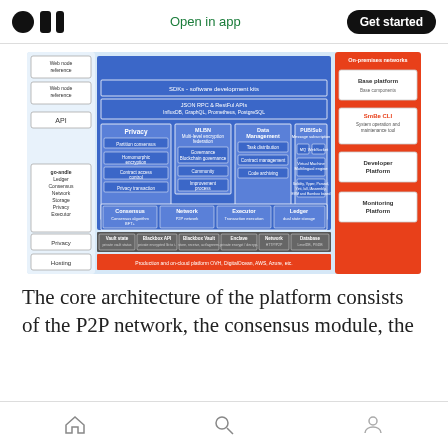Open in app | Get started
[Figure (engineering-diagram): Architecture diagram of a blockchain platform showing layers: Web node reference, API (SDKs, JSON RPC & RestFul APIs, InfluxDB, GraphQL, Prometheus, PostgreSQL), core modules (Privacy, MLBN Multi-level encryption federation, Data Management, PUB/Sub Message subscription, Governance Blockchain governance, Community, Improvement process, Task distribution, Contract management, Code archiving, Virtual Machine Multilingual engine, Solidity Vyper Parasol, Yint lull, IAssembly EVM and Bamboo based), bottom layer (Consensus Consensus algorithm BFT, Network P2P network, Executor Transaction execution, Ledger dual state storage), Privacy layer (Vault state, Blackbox API, Blackbox Vault, Enclave, Network HTTP/P2P, Database LevelDB PGDB), Hosting (Production and on-cloud platform OVH, DigitalOcean, AWS, Azure, etc.), and On-premises networks panel on the right (Base platform, SmBe CLI System operation and maintenance tool, Developer Platform, Monitoring Platform).]
The core architecture of the platform consists of the P2P network, the consensus module, the
Home | Search | Profile